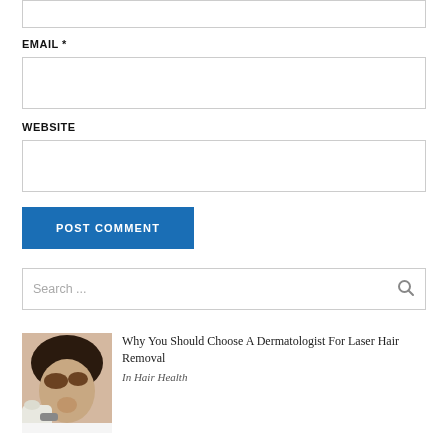EMAIL *
WEBSITE
POST COMMENT
Search ...
[Figure (photo): Woman receiving laser hair removal treatment on her face, wearing protective goggles, with a gloved hand holding a device near her chin.]
Why You Should Choose A Dermatologist For Laser Hair Removal
In Hair Health